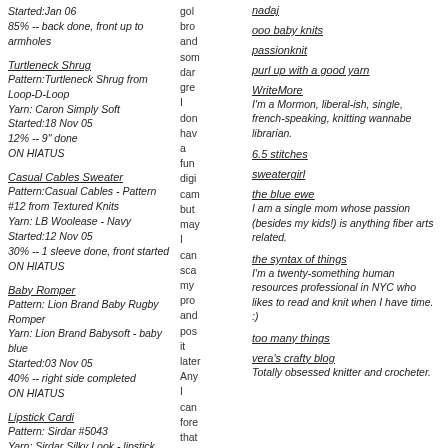Started:Jan 06
85% -- back done, front up to armholes
Turtleneck Shrug
Pattern:Turtleneck Shrug from Loop-D-Loop
Yarn: Caron Simply Soft
Started:18 Nov 05
12% -- 9" done
ON HIATUS
Casual Cables Sweater
Pattern:Casual Cables - Pattern #12 from Textured Knits
Yarn: LB Woolease - Navy
Started:12 Nov 05
30% -- 1 sleeve done, front started
ON HIATUS
Baby Romper
Pattern: Lion Brand Baby Rugby Romper
Yarn: Lion Brand Babysoft - baby blue
Started:03 Nov 05
40% -- right side completed
ON HIATUS
Lipstick Cardi
Pattern: Sirdar #5043
Yarn: Sirdar Silky Look - lipstick
Started:20 Feb 05
gold brow and som dark gree I don hav a func digit cam but may I can scar my prog and pos it later Any I can fore that thes
nadaj
ooo baby knits
passionknit
purl up with a good yarn
WriteMore
I'm a Mormon, liberal-ish, single, french-speaking, knitting wannabe librarian.
6.5 stitches
sweatergirl
the blue ewe
I am a single mom whose passion (besides my kids!) is anything fiber arts related.
the syntax of things
I'm a twenty-something human resources professional in NYC who likes to read and knit when I have time. :)
too many things
vera's crafty blog
Totally obsessed knitter and crocheter.